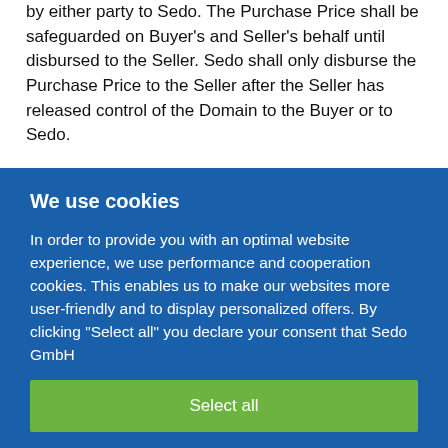by either party to Sedo. The Purchase Price shall be safeguarded on Buyer's and Seller's behalf until disbursed to the Seller. Sedo shall only disburse the Purchase Price to the Seller after the Seller has released control of the Domain to the Buyer or to Sedo.
We use cookies
In order to provide you with an optimal website experience, we use performance and cooperation cookies. This enables us to make our websites more user-friendly and to display personalized offers. By clicking "Select all" you declare your consent that Sedo GmbH
Select all
Confirm selection